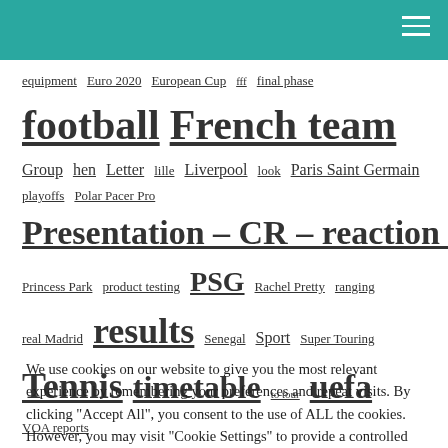Navigation header with teal background
equipment  Euro 2020  European Cup  fff  final phase  football  French team  Group  hen  Letter  lille  Liverpool  look  Paris Saint Germain  playoffs  Polar Pacer Pro  Presentation – CR – reaction (cat)  Princess Park  product testing  PSG  Rachel Pretty  ranging  real Madrid  results  Senegal  Sport  Super Touring  Tennis  timetable  to tour  uefa  VOA reports
We use cookies on our website to give you the most relevant experience by remembering your preferences and repeat visits. By clicking "Accept All", you consent to the use of ALL the cookies. However, you may visit "Cookie Settings" to provide a controlled consent.